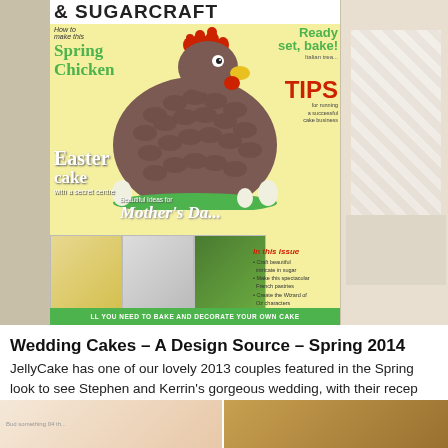[Figure (photo): Magazine cover of a cake decorating and sugarcraft publication showing a chicken-shaped Easter cake on the cover, with various text elements including 'Spring Chicken', 'Easter cake with a secret centre', 'Ready set bake!', 'TIPS', 'Beautiful Ideas for Mother's Day', and thumbnail images at the bottom. A white wedding cake is partially visible on the right side.]
Wedding Cakes – A Design Source – Spring 2014
JellyCake has one of our lovely 2013 couples featured in the Spring look to see Stephen and Kerrin's gorgeous wedding, with their recep
[Figure (photo): Two partial thumbnail images at the bottom of the page showing what appear to be cake-related content.]